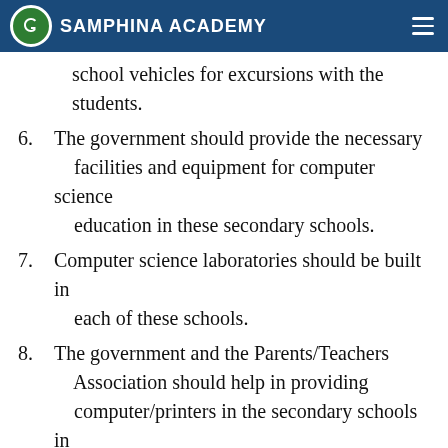Samphina Academy
school vehicles for excursions with the students.
6. The government should provide the necessary facilities and equipment for computer science education in these secondary schools.
7. Computer science laboratories should be built in each of these schools.
8. The government and the Parents/Teachers Association should help in providing computer/printers in the secondary schools in Enugu North Local Government Area.
9. The government should supply enough standard